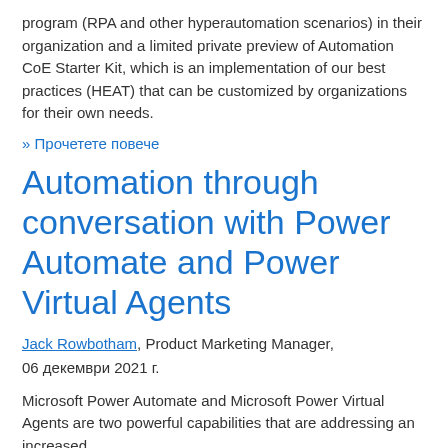program (RPA and other hyperautomation scenarios) in their organization and a limited private preview of Automation CoE Starter Kit, which is an implementation of our best practices (HEAT) that can be customized by organizations for their own needs.
» Прочетете повече
Automation through conversation with Power Automate and Power Virtual Agents
Jack Rowbotham, Product Marketing Manager, 06 декември 2021 г.
Microsoft Power Automate and Microsoft Power Virtual Agents are two powerful capabilities that are addressing an increased